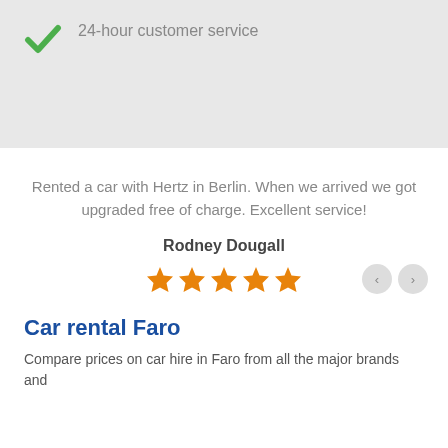24-hour customer service
Rented a car with Hertz in Berlin. When we arrived we got upgraded free of charge. Excellent service!
Rodney Dougall
[Figure (other): Five orange star rating icons]
Car rental Faro
Compare prices on car hire in Faro from all the major brands and